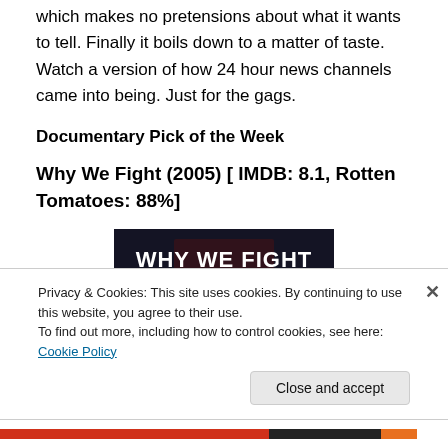which makes no pretensions about what it wants to tell. Finally it boils down to a matter of taste. Watch a version of how 24 hour news channels came into being. Just for the gags.
Documentary Pick of the Week
Why We Fight (2005) [ IMDB: 8.1, Rotten Tomatoes: 88%]
[Figure (photo): Movie poster for 'Why We Fight' (2005), a film by Eugene Jarecki. Dark background with bold white text reading 'WHY WE FIGHT' and subtitle 'A FILM BY EUGENE JARECKI'.]
Privacy & Cookies: This site uses cookies. By continuing to use this website, you agree to their use.
To find out more, including how to control cookies, see here: Cookie Policy
Close and accept